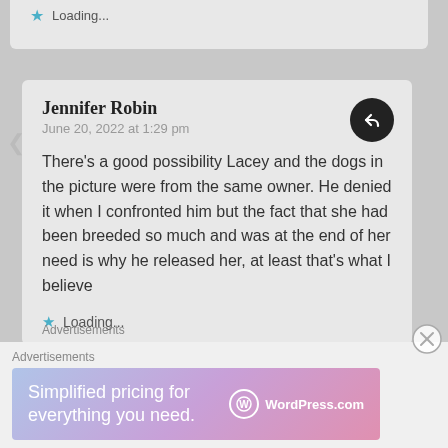gentle, beautiful soul.
Loading...
Jennifer Robin
June 20, 2022 at 1:29 pm
There's a good possibility Lacey and the dogs in the picture were from the same owner. He denied it when I confronted him but the fact that she had been breeded so much and was at the end of her need is why he released her, at least that's what I believe
Loading...
Advertisements
Advertisements
[Figure (infographic): WordPress.com advertisement banner with gradient background (blue to pink/purple). Text reads 'Simplified pricing for everything you need.' with WordPress.com logo on the right.]